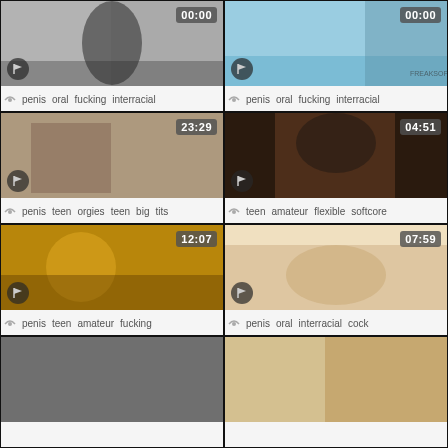[Figure (screenshot): Video thumbnail grid showing 8 video cards in a 2x4 grid layout, each with a thumbnail image, duration timer, flag button, and tags]
penis  oral  fucking  interracial  (00:00)
penis  oral  fucking  interracial  (00:00)
penis  teen  orgies  teen  big  tits  (23:29)
teen  amateur  flexible  softcore  (04:51)
penis  teen  amateur  fucking  (12:07)
penis  oral  interracial  cock  (07:59)